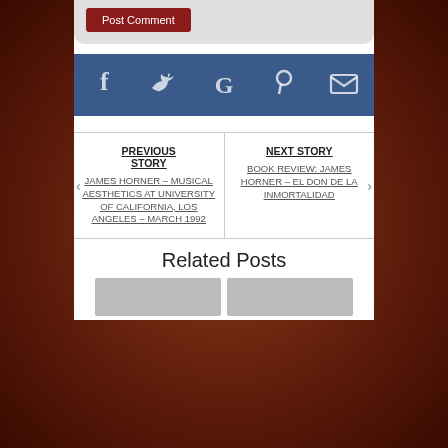[Figure (screenshot): Post Comment button in a gray rounded comment box area]
[Figure (infographic): Social sharing bar with Facebook, Twitter, Google, Pinterest, and Email icons on a blue background]
PREVIOUS STORY
JAMES HORNER – MUSICAL AESTHETICS AT UNIVERSITY OF CALIFORNIA, LOS ANGELES – MARCH 1992
NEXT STORY
BOOK REVIEW: JAMES HORNER – EL DON DE LA INMORTALIDAD
Related Posts